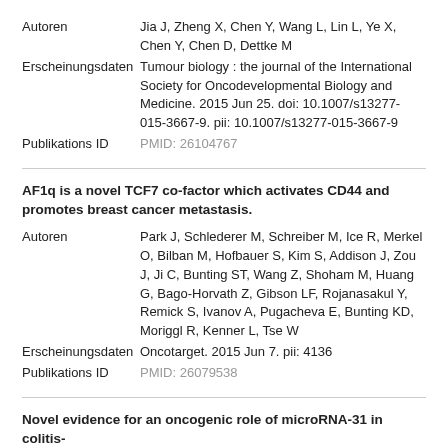| Field | Value |
| --- | --- |
| Autoren | Jia J, Zheng X, Chen Y, Wang L, Lin L, Ye X, Chen Y, Chen D, Dettke M |
| Erscheinungsdaten | Tumour biology : the journal of the International Society for Oncodevelopmental Biology and Medicine. 2015 Jun 25. doi: 10.1007/s13277-015-3667-9. pii: 10.1007/s13277-015-3667-9 |
| Publikations ID | PMID: 26104767 |
AF1q is a novel TCF7 co-factor which activates CD44 and promotes breast cancer metastasis.
| Field | Value |
| --- | --- |
| Autoren | Park J, Schlederer M, Schreiber M, Ice R, Merkel O, Bilban M, Hofbauer S, Kim S, Addison J, Zou J, Ji C, Bunting ST, Wang Z, Shoham M, Huang G, Bago-Horvath Z, Gibson LF, Rojanasakul Y, Remick S, Ivanov A, Pugacheva E, Bunting KD, Moriggl R, Kenner L, Tse W |
| Erscheinungsdaten | Oncotarget. 2015 Jun 7. pii: 4136 |
| Publikations ID | PMID: 26079538 |
Novel evidence for an oncogenic role of microRNA-31 in colitis-